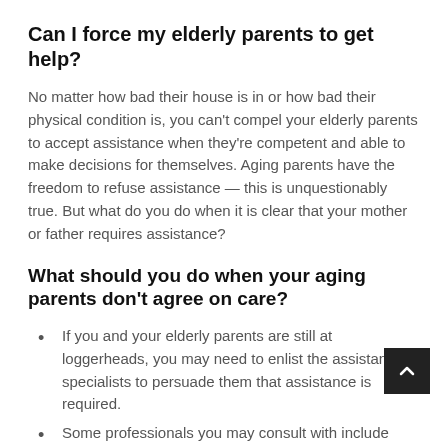Can I force my elderly parents to get help?
No matter how bad their house is in or how bad their physical condition is, you can't compel your elderly parents to accept assistance when they're competent and able to make decisions for themselves. Aging parents have the freedom to refuse assistance — this is unquestionably true. But what do you do when it is clear that your mother or father requires assistance?
What should you do when your aging parents don't agree on care?
If you and your elderly parents are still at loggerheads, you may need to enlist the assistance of specialists to persuade them that assistance is required.
Some professionals you may consult with include your parent's physician, supports coordinator, friend, neighbor, social worker, geriatric care manager, or even a priest, rabbi,